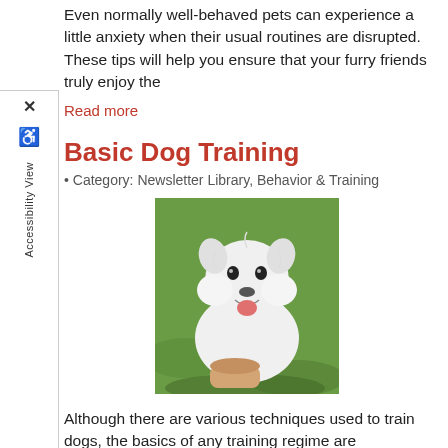Even normally well-behaved pets can experience a little anxiety when their usual routines are disrupted. These tips will help you ensure that your furry friends truly enjoy the
Read more
Basic Dog Training
• Category: Newsletter Library, Behavior & Training
[Figure (photo): A fluffy white dog sitting on grass, looking up at the camera with its mouth open, while a hand holds a treat below.]
Although there are various techniques used to train dogs, the basics of any training regime are consistency and plenty of exercise. Discipline and affection are also key to a well-trained dog. Dogs need a leader - they feel more confident with a leader. If their owner is not the leader, they will take
Read more